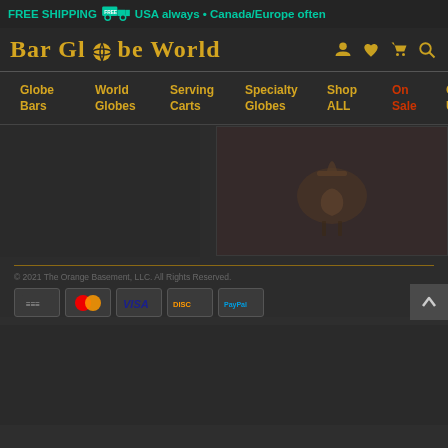FREE SHIPPING 🚚 USA always • Canada/Europe often
Bar Globe World
Globe Bars | World Globes | Serving Carts | Specialty Globes | Shop ALL | On Sale | C U
[Figure (photo): Partial product image thumbnail on dark background]
© 2021 The Orange Basement, LLC. All Rights Reserved.
[Figure (infographic): Payment method icons: Stripe, Mastercard, Visa, Discover, PayPal]